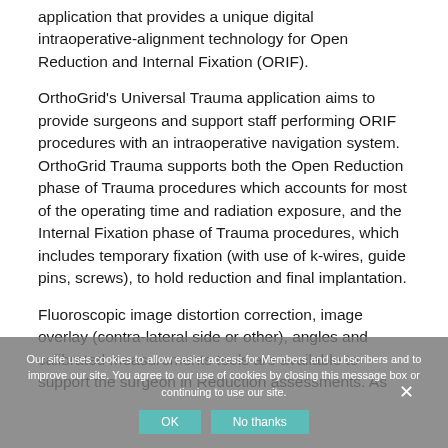application that provides a unique digital intraoperative-alignment technology for Open Reduction and Internal Fixation (ORIF).
OrthoGrid's Universal Trauma application aims to provide surgeons and support staff performing ORIF procedures with an intraoperative navigation system. OrthoGrid Trauma supports both the Open Reduction phase of Trauma procedures which accounts for most of the operating time and radiation exposure, and the Internal Fixation phase of Trauma procedures, which includes temporary fixation (with use of k-wires, guide pins, screws), to hold reduction and final implantation.
Fluoroscopic image distortion correction, image overlay (contra-lateral side or other), angles and calibrated measurements tools are available to support the surgeon in Reduction assessments. As
Our site uses cookies to allow easier access for Members and subscribers and to improve our site. You agree to our use of cookies by closing this message box or continuing to use our site.